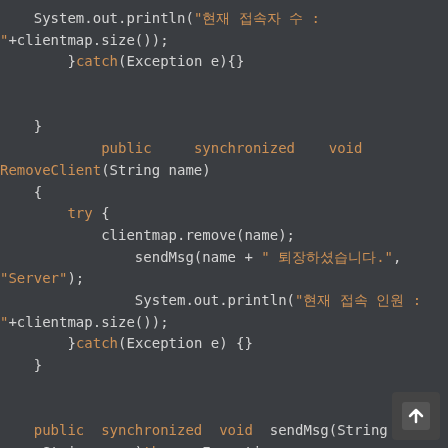[Figure (screenshot): Java source code snippet showing RemoveClient and sendMsg synchronized methods on a dark background IDE editor.]